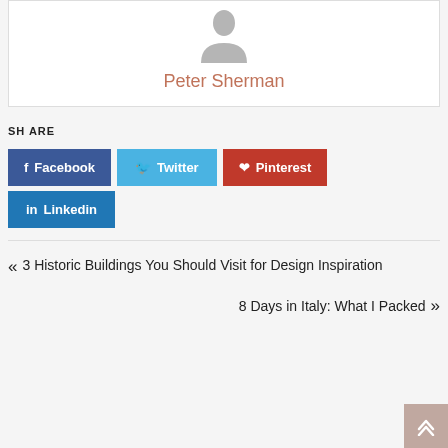[Figure (illustration): Generic user avatar placeholder (grey silhouette)]
Peter Sherman
SH ARE
Facebook
Twitter
Pinterest
Linkedin
« 3 Historic Buildings You Should Visit for Design Inspiration
8 Days in Italy: What I Packed »